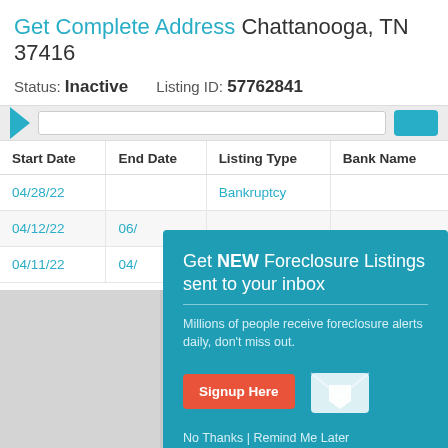Get Complete Address Chattanooga, TN 37416
Status: Inactive    Listing ID: 57762841
[Figure (screenshot): Navigation bar strip with teal arrow, search input, and teal button]
| Start Date | End Date | Listing Type | Bank Name |
| --- | --- | --- | --- |
| 04/28/22 |  | Bankruptcy |  |
| 04/12/22 | 06/… |  |  |
| 04/11/22 | 04/… |  |  |
[Figure (infographic): Teal popup overlay: 'Get NEW Foreclosure Listings sent to your inbox' with Signup Here button, mail icon, and 'No Thanks | Remind Me Later' link]